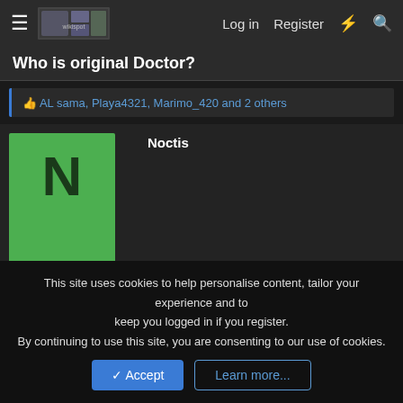Log in  Register
Who is original Doctor?
AL sama, Playa4321, Marimo_420 and 2 others
Noctis
[Figure (illustration): Green avatar box with large letter N]
Jul 5, 2020   #3,067
This site uses cookies to help personalise content, tailor your experience and to keep you logged in if you register. By continuing to use this site, you are consenting to our use of cookies.